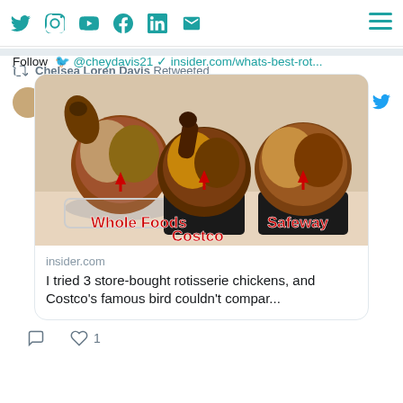Social media icons: Twitter, Instagram, YouTube, Facebook, LinkedIn, Email; Hamburger menu; Chelsea Loren Davis
Follow @cheydavis21 insider.com/whats-best-rot...
[Figure (photo): Three rotisserie chickens in containers labeled Whole Foods (left, clear container), Costco (center, black container), and Safeway (right, black container). Red arrows point to each chicken with red bold text labels.]
insider.com
I tried 3 store-bought rotisserie chickens, and Costco's famous bird couldn't compar...
1 (like)
Chelsea Loren Davis Retweeted
The Ritz-Carlton Ha... @RitzC... · Jul 21